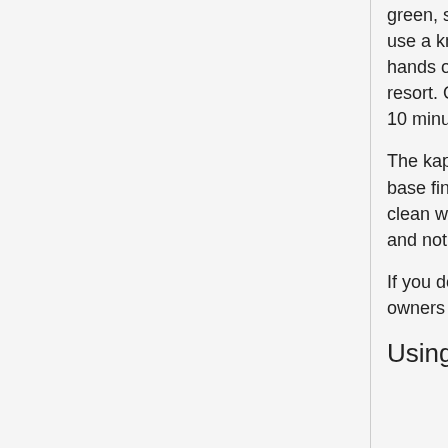green, shiny tape is very fragile and expensive to replace and so you MUST NOT use a knife, scraper or other sharp object to remove your finished models. Use your hands only, or the plastic scraper with the Makerbot logo on in the red box as a last resort. Often, models will easily come free once the bed is allowed to cool, so give it 10 minutes and try again before resorting to this.
The kapton tape needs to be kept clean so that plastic extruded onto it has a nice base finish and sticks well. If you notice smears or marks on the tape give it a gentle clean with a dry cloth from the red box on the shelf. Make sure your hands are clean and not greasy before you touch the platen or try to remove printed objects from it.
If you do damage the tape, please let the owners know as soon as possible. The owners group email address is on the sign on the side of the machine.
Using SD cards with the